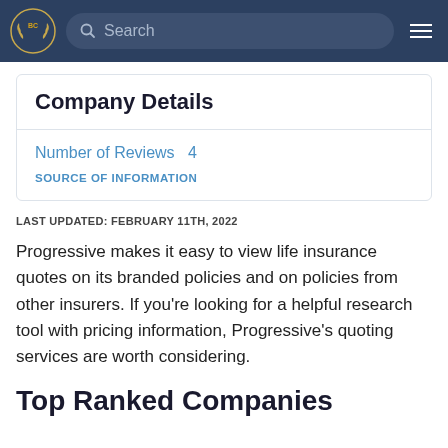BC [logo] Search [hamburger menu]
Company Details
Number of Reviews  4
SOURCE OF INFORMATION
LAST UPDATED: FEBRUARY 11TH, 2022
Progressive makes it easy to view life insurance quotes on its branded policies and on policies from other insurers. If you're looking for a helpful research tool with pricing information, Progressive's quoting services are worth considering.
Top Ranked Companies